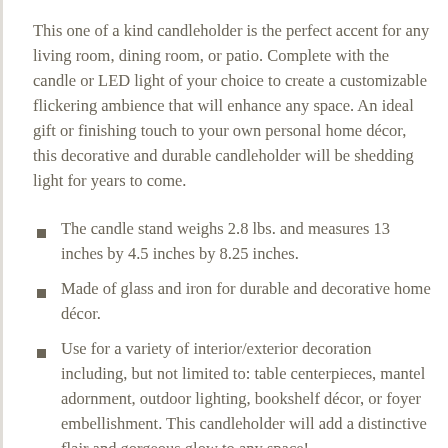This one of a kind candleholder is the perfect accent for any living room, dining room, or patio. Complete with the candle or LED light of your choice to create a customizable flickering ambience that will enhance any space. An ideal gift or finishing touch to your own personal home décor, this decorative and durable candleholder will be shedding light for years to come.
The candle stand weighs 2.8 lbs. and measures 13 inches by 4.5 inches by 8.25 inches.
Made of glass and iron for durable and decorative home décor.
Use for a variety of interior/exterior decoration including, but not limited to: table centerpieces, mantel adornment, outdoor lighting, bookshelf décor, or foyer embellishment. This candleholder will add a distinctive flair and gorgeous glow to any space!
To clean your lighting décor dust lightly or wipe with a